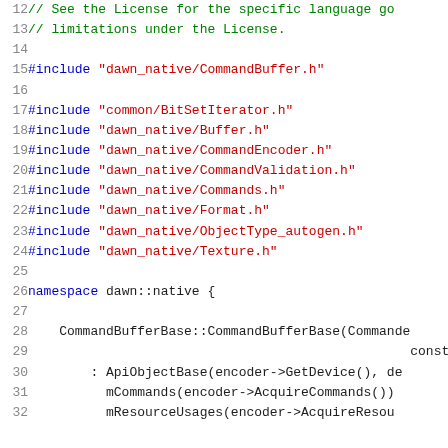[Figure (screenshot): Source code viewer showing C++ code lines 12-32. Lines 12-13 are green comments. Lines 15-24 are #include directives with red string paths. Line 26 shows namespace declaration. Lines 28-32 show class constructor definition.]